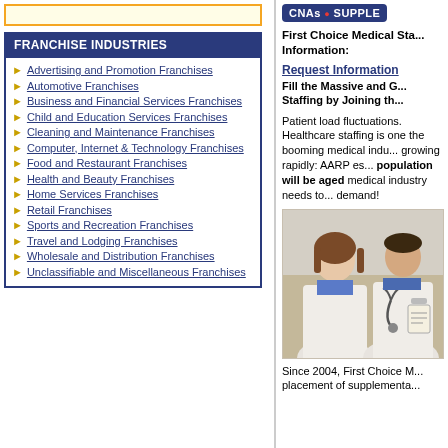[Figure (other): Top banner with orange border on left column]
FRANCHISE INDUSTRIES
Advertising and Promotion Franchises
Automotive Franchises
Business and Financial Services Franchises
Child and Education Services Franchises
Cleaning and Maintenance Franchises
Computer, Internet & Technology Franchises
Food and Restaurant Franchises
Health and Beauty Franchises
Home Services Franchises
Retail Franchises
Sports and Recreation Franchises
Travel and Lodging Franchises
Wholesale and Distribution Franchises
Unclassifiable and Miscellaneous Franchises
[Figure (logo): CNAs SUPPLE banner logo in dark blue with red dot]
First Choice Medical Sta... Information:
Request Information Fill the Massive and G... Staffing by Joining th...
Patient load fluctuations. Healthcare staffing is one the booming medical indu... growing rapidly: AARP es... population will be aged... medical industry needs to... demand!
[Figure (photo): Two medical professionals in white coats, a woman and a man with a stethoscope]
Since 2004, First Choice M... placement of supplementa...